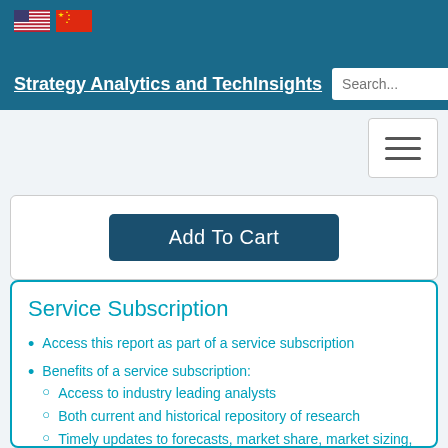Strategy Analytics and TechInsights
Add To Cart
Service Subscription
Access this report as part of a service subscription
Benefits of a service subscription:
Access to industry leading analysts
Both current and historical repository of research
Timely updates to forecasts, market share, market sizing, and trendsEtc.